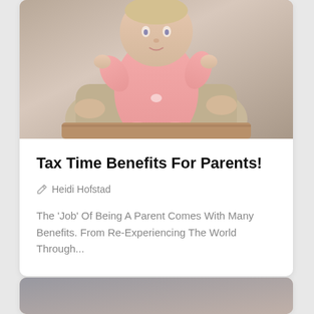[Figure (photo): Photo of an adult holding a baby dressed in a pink outfit/onesie, seated on what appears to a wooden surface]
Tax Time Benefits For Parents!
✏ Heidi Hofstad
The 'Job' Of Being A Parent Comes With Many Benefits. From Re-Experiencing The World Through...